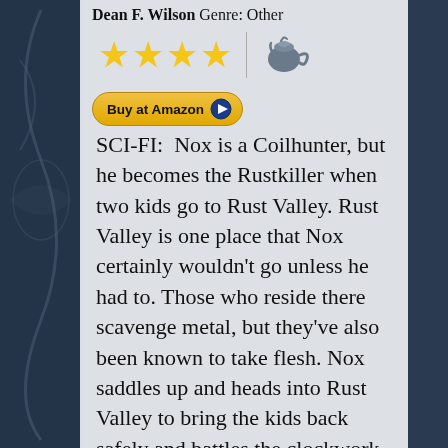Dean F. Wilson Genre: Other
[Figure (other): Four yellow star rating icons followed by a vertical divider and a grey teapot icon]
[Figure (other): Buy at Amazon button with play icon]
SCI-FI: Nox is a Coilhunter, but he becomes the Rustkiller when two kids go to Rust Valley. Rust Valley is one place that Nox certainly wouldn't go unless he had to. Those who reside there scavenge metal, but they've also been known to take flesh. Nox saddles up and heads into Rust Valley to bring the kids back safely and battles the clockwork constructs. He faces many obstacles, battles and has to